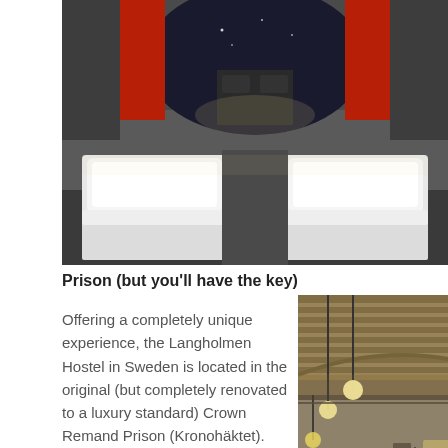[Figure (photo): Interior of an airplane cockpit converted into a bedroom with two white beds with white pillows and bedding, cockpit windshield visible in background with night sky, red curtains on sides]
Prison (but you'll have the key)
Offering a completely unique experience, the Langholmen Hostel in Sweden is located in the original (but completely renovated to a luxury standard) Crown Remand Prison (Kronohäktet). Built in
[Figure (photo): Interior of a renovated prison with multiple levels, arched ceilings, industrial lighting fixtures hanging from above, warm golden lighting illuminating the corridor and cell doors]